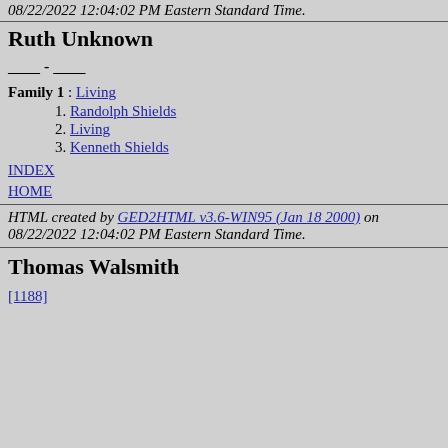08/22/2022 12:04:02 PM Eastern Standard Time.
Ruth Unknown
____ - ____
Family 1 : Living
1. Randolph Shields
2. Living
3. Kenneth Shields
INDEX
HOME
HTML created by GED2HTML v3.6-WIN95 (Jan 18 2000) on 08/22/2022 12:04:02 PM Eastern Standard Time.
Thomas Walsmith
[1188]